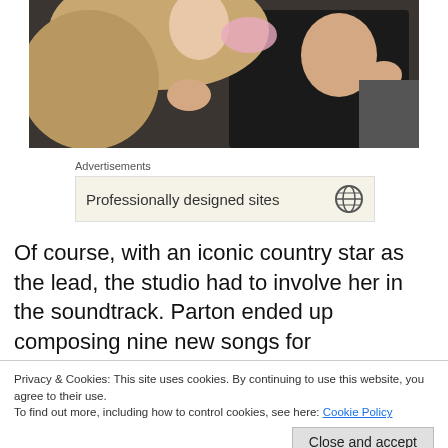[Figure (photo): Two people embracing and kissing, one with blonde hair in a dark setting]
Advertisements
[Figure (screenshot): Advertisement banner: 'Professionally designed sites' with a globe/WordPress icon]
Of course, with an iconic country star as the lead, the studio had to involve her in the soundtrack. Parton ended up composing nine new songs for
Privacy & Cookies: This site uses cookies. By continuing to use this website, you agree to their use.
To find out more, including how to control cookies, see here: Cookie Policy
laundry or cleaning my basement. In the context of